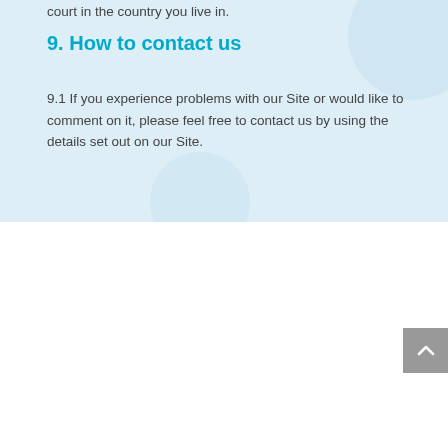court in the country you live in.
9. How to contact us
9.1 If you experience problems with our Site or would like to comment on it, please feel free to contact us by using the details set out on our Site.